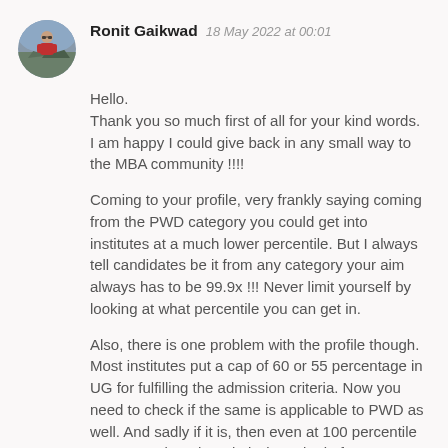Ronit Gaikwad  18 May 2022 at 00:01
Hello.
Thank you so much first of all for your kind words. I am happy I could give back in any small way to the MBA community !!!!
Coming to your profile, very frankly saying coming from the PWD category you could get into institutes at a much lower percentile. But I always tell candidates be it from any category your aim always has to be 99.9x !!! Never limit yourself by looking at what percentile you can get in.
Also, there is one problem with the profile though. Most institutes put a cap of 60 or 55 percentage in UG for fulfilling the admission criteria. Now you need to check if the same is applicable to PWD as well. And sadly if it is, then even at 100 percentile you won't clear the admission criteria for